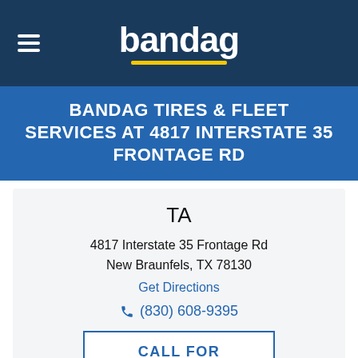[Figure (logo): Bandag logo with white text on dark blue background and yellow underline, hamburger menu icon on left]
BANDAG TIRES & FLEET SERVICES AT 4817 INTERSTATE 35 FRONTAGE RD
TA
4817 Interstate 35 Frontage Rd
New Braunfels, TX 78130
Get Directions
(830) 608-9395
CALL FOR QUOTE
Hours:
Mon-Sun: 12:01 am to 12:00 am
SERVICES:
24 Hour Emergency Road Service